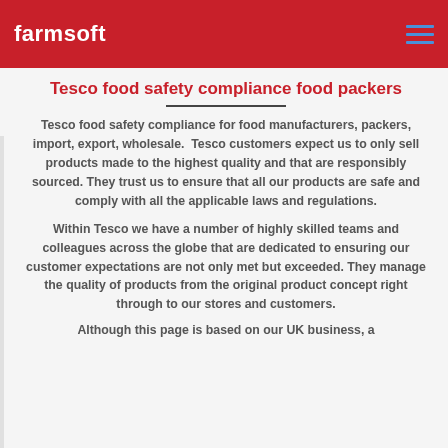farmsoft
Tesco food safety compliance food packers
Tesco food safety compliance for food manufacturers, packers, import, export, wholesale. Tesco customers expect us to only sell products made to the highest quality and that are responsibly sourced. They trust us to ensure that all our products are safe and comply with all the applicable laws and regulations.
Within Tesco we have a number of highly skilled teams and colleagues across the globe that are dedicated to ensuring our customer expectations are not only met but exceeded. They manage the quality of products from the original product concept right through to our stores and customers.
Although this page is based on our UK business, a